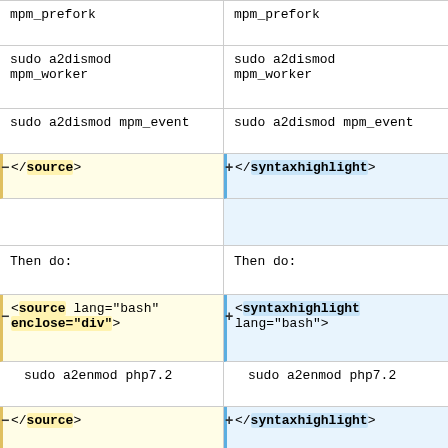| Left (source) | Right (syntaxhighlight) |
| --- | --- |
| mpm_prefork | mpm_prefork |
| sudo a2dismod
mpm_worker | sudo a2dismod
mpm_worker |
| sudo a2dismod mpm_event | sudo a2dismod mpm_event |
| - </source> | + </syntaxhighlight> |
| (blank) | (blank) |
| Then do: | Then do: |
| - <source lang="bash" enclose="div"> | + <syntaxhighlight lang="bash"> |
| sudo a2enmod php7.2 | sudo a2enmod php7.2 |
| - </source> | + </syntaxhighlight> |
| (blank) | (blank) |
| this way the php7.2 mod should auto enable the correct MPM. | this way the php7.2 mod should auto enable the correct MPM. |